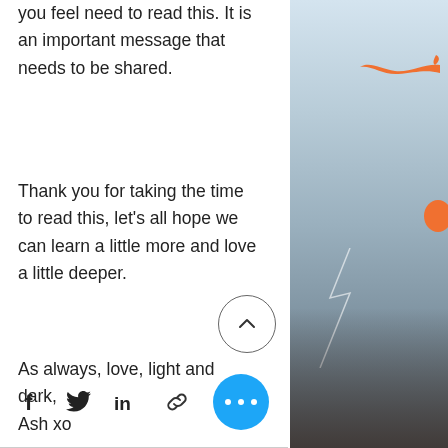Please share this entry with others that you feel need to read this. It is an important message that needs to be shared.
Thank you for taking the time to read this, let's all hope we can learn a little more and love a little deeper.
As always, love, light and dark,
Ash xo
[Figure (illustration): Partial view of a stormy sky with orange bird silhouettes on the right side]
[Figure (other): Scroll-up circular button with chevron icon]